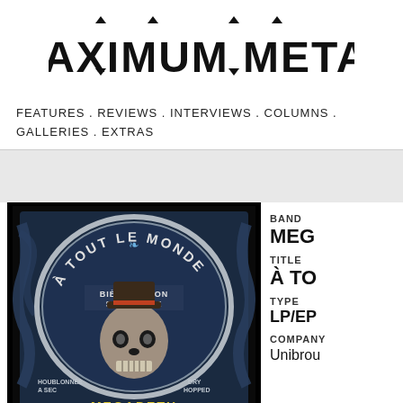[Figure (logo): Maximum Metal logo in spiky metal font]
FEATURES . REVIEWS . INTERVIEWS . COLUMNS . GALLERIES . EXTRAS
[Figure (photo): Album artwork for Megadeth À Tout le Monde beer label - Bière Saison Saison Ale, showing a skull character wearing a top hat, with decorative blue floral background and text 'HOUBLONNÉE À SEC' and 'DRY HOPPED']
BAND
MEG
TITLE
À TO
TYPE
LP/EP
COMPANY
Unibrou